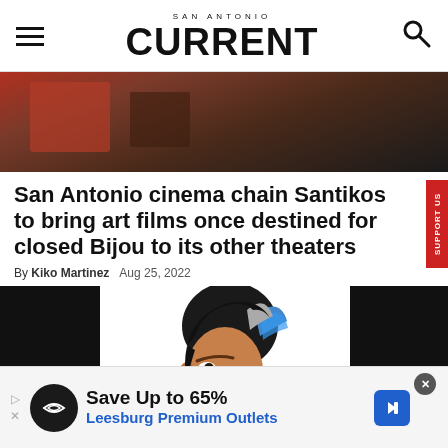SAN ANTONIO CURRENT
[Figure (photo): Close-up photo of people in theater, red jacket visible]
San Antonio cinema chain Santikos to bring art films once destined for closed Bijou to its other theaters
By Kiko Martinez   Aug 25, 2022
[Figure (illustration): Illustrated portrait of a man with stylized blue and grey hair feathers, looking sideways]
[Figure (screenshot): Advertisement banner: Save Up to 65% Leesburg Premium Outlets]